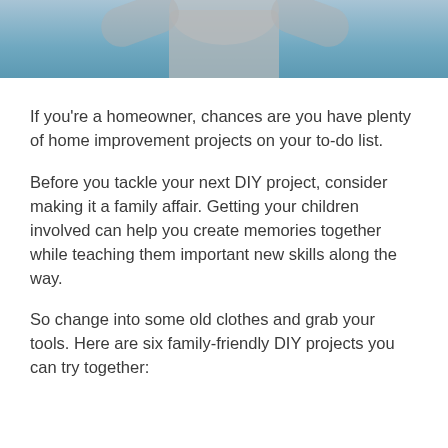[Figure (photo): Partial photo of a person in a grey shirt with a blue painted wall background, cropped at top of page]
If you're a homeowner, chances are you have plenty of home improvement projects on your to-do list.
Before you tackle your next DIY project, consider making it a family affair. Getting your children involved can help you create memories together while teaching them important new skills along the way.
So change into some old clothes and grab your tools. Here are six family-friendly DIY projects you can try together: